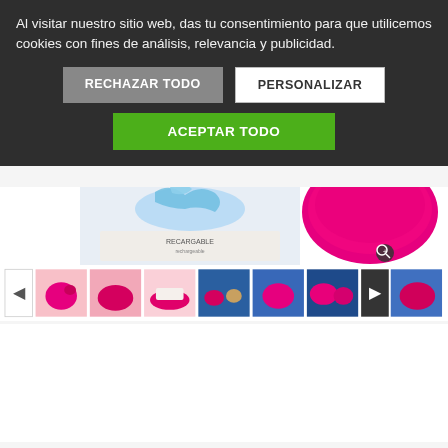Al visitar nuestro sitio web, das tu consentimiento para que utilicemos cookies con fines de análisis, relevancia y publicidad.
RECHAZAR TODO
PERSONALIZAR
ACEPTAR TODO
[Figure (photo): Product photo showing pink device and its box labeled RECARGABLE]
[Figure (photo): Thumbnail strip of pink device in various angles on pink and blue backgrounds]
[Figure (logo): Trusted Shops e-Guarantee badge with 4.70 star rating]
Make your purchases, and pay with Bizum!
Pay Securely
[Figure (logo): Payment logos: bizum, VISA, PayPal, MasterCard]
[Figure (logo): WhatsApp contact button]